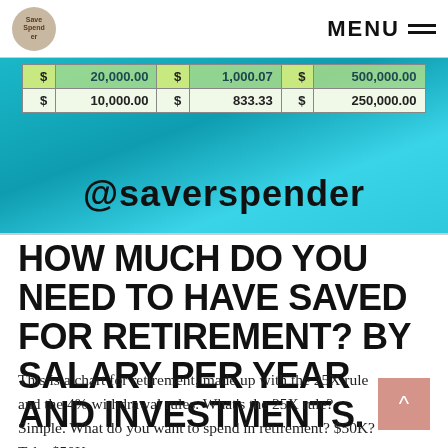MENU
[Figure (table-as-image): Partial table showing financial data with green-highlighted rows containing dollar amounts: row 1 - $20,000.00 | $1,000.07 | $500,000.00 (partially visible), row 2 - $10,000.00 | $833.33 | $250,000.00. Overlaid with '@saverspender' watermark on teal/blue background.]
HOW MUCH DO YOU NEED TO HAVE SAVED FOR RETIREMENT? BY SALARY PER YEAR AND INVESTMENTS.
This is a chart for retirement, made up with the 25X rule and the 4% withdrawal rules. What's the 25X rule? Simple. What do you want to spend in retirement? $50K? Take $50K x